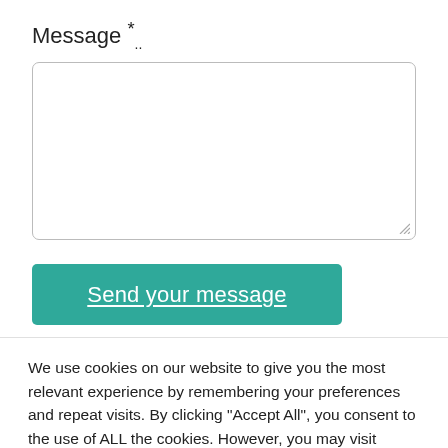Message .*
[Figure (other): Empty textarea input field with resize handle in bottom-right corner]
Send your message
We use cookies on our website to give you the most relevant experience by remembering your preferences and repeat visits. By clicking "Accept All", you consent to the use of ALL the cookies. However, you may visit "Cookie Settings" to provide a controlled consent.
Cookie Settings
Accept All